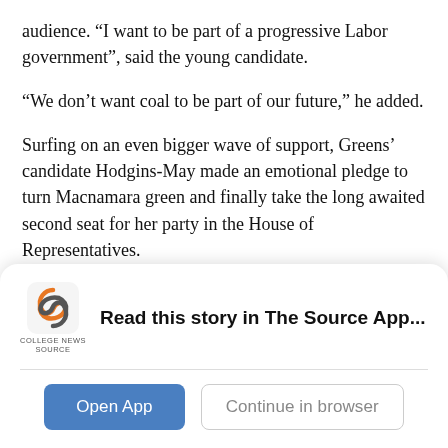audience. “I want to be part of a progressive Labor government”, said the young candidate.
“We don’t want coal to be part of our future,” he added.
Surfing on an even bigger wave of support, Greens’ candidate Hodgins-May made an emotional pledge to turn Macnamara green and finally take the long awaited second seat for her party in the House of Representatives.
The same could not be said for Liberal’s Kate Ashmor, who found herself in clear contrast with her two
[Figure (other): App download banner for College News Source app with logo, message 'Read this story in The Source App...', and two buttons: 'Open App' and 'Continue in browser']